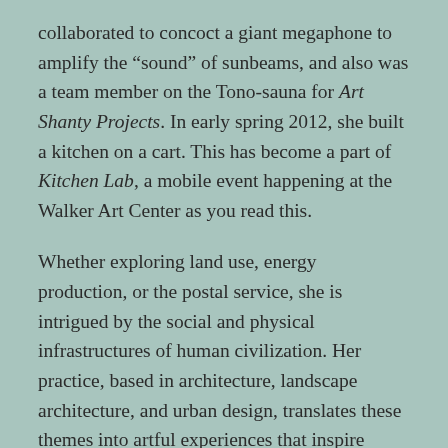collaborated to concoct a giant megaphone to amplify the “sound” of sunbeams, and also was a team member on the Tono-sauna for Art Shanty Projects. In early spring 2012, she built a kitchen on a cart. This has become a part of Kitchen Lab, a mobile event happening at the Walker Art Center as you read this.
Whether exploring land use, energy production, or the postal service, she is intrigued by the social and physical infrastructures of human civilization. Her practice, based in architecture, landscape architecture, and urban design, translates these themes into artful experiences that inspire curiosity about the world and the people within it.
Artist Statement
Historically, trade routes have served as the arteries